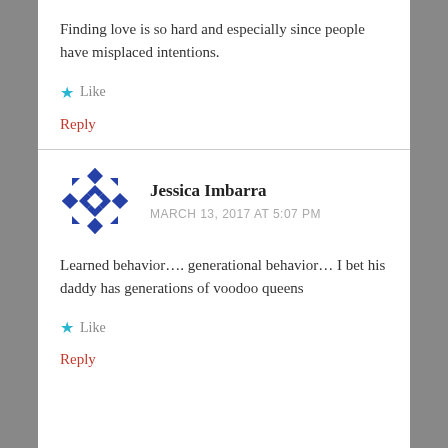Finding love is so hard and especially since people have misplaced intentions.
Like
Reply
Jessica Imbarra
MARCH 13, 2017 AT 5:07 PM
Learned behavior…. generational behavior… I bet his daddy has generations of voodoo queens
Like
Reply